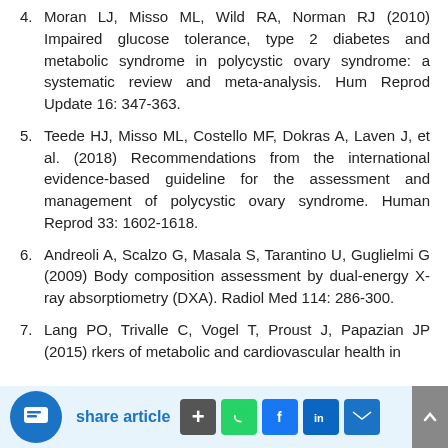Moran LJ, Misso ML, Wild RA, Norman RJ (2010) Impaired glucose tolerance, type 2 diabetes and metabolic syndrome in polycystic ovary syndrome: a systematic review and meta-analysis. Hum Reprod Update 16: 347-363.
Teede HJ, Misso ML, Costello MF, Dokras A, Laven J, et al. (2018) Recommendations from the international evidence-based guideline for the assessment and management of polycystic ovary syndrome. Human Reprod 33: 1602-1618.
Andreoli A, Scalzo G, Masala S, Tarantino U, Guglielmi G (2009) Body composition assessment by dual-energy X-ray absorptiometry (DXA). Radiol Med 114: 286-300.
Lang PO, Trivalle C, Vogel T, Proust J, Papazian JP (2015) rkers of metabolic and cardiovascular health in